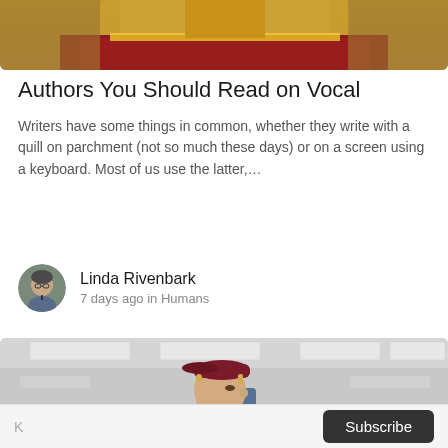[Figure (photo): Top portion of an article card showing a person in a yellow and red traditional costume with a gold belt, cropped at the waist.]
Authors You Should Read on Vocal
Writers have some things in common, whether they write with a quill on parchment (not so much these days) or on a screen using a keyboard. Most of us use the latter,…
Linda Rivenbark
7 days ago in Humans
[Figure (photo): Bottom article card image showing a young man wearing a dark red backwards cap, looking to the side, in an indoor setting with fluorescent ceiling lights.]
K  Subscribe